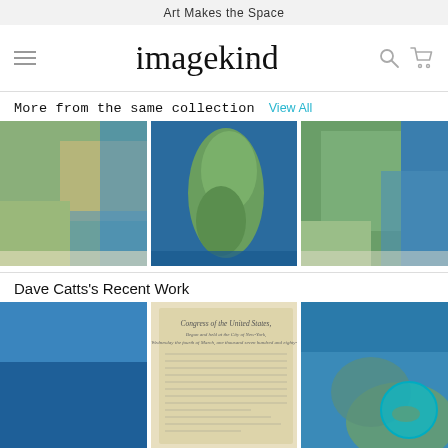Art Makes the Space
[Figure (logo): Imagekind logo with hamburger menu, search icon, and cart icon in navigation bar]
More from the same collection
View All
[Figure (photo): Satellite/terrain map image 1 - coastal region]
[Figure (photo): Satellite/terrain map image 2 - Madagascar island]
[Figure (photo): Satellite/terrain map image 3 - South America region]
Dave Catts's Recent Work
[Figure (photo): Blue ocean/water satellite map]
[Figure (photo): Congress of the United States historical document]
[Figure (photo): Satellite map with teal circle overlay]